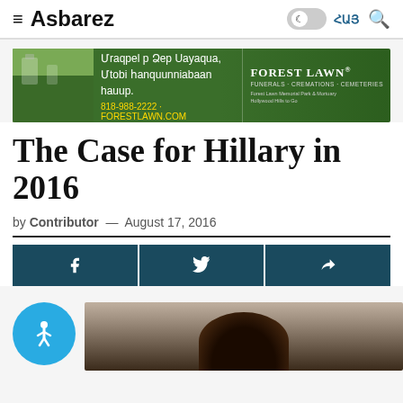≡ Asbarez  ☾ ՀԱՅ 🔍
[Figure (infographic): Forest Lawn advertisement banner with Armenian text: Մրաբելp Ձեr Սայացuaն, Մtoբi հaնquunniabան hauup: 818-988-2222 · ForestLawn.com, and Forest Lawn logo with FUNERALS · CREMATIONS · CEMETERIES]
The Case for Hillary in 2016
by Contributor — August 17, 2016
[Figure (photo): Partial photo of a person's head showing dark hair, cropped at the bottom of the page]
[Figure (infographic): Blue circular accessibility button with wheelchair/person icon]